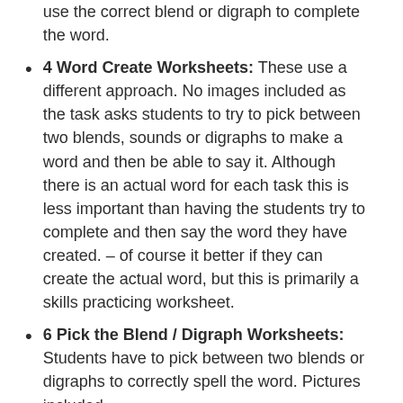use the correct blend or digraph to complete the word.
4 Word Create Worksheets: These use a different approach. No images included as the task asks students to try to pick between two blends, sounds or digraphs to make a word and then be able to say it. Although there is an actual word for each task this is less important than having the students try to complete and then say the word they have created. – of course it better if they can create the actual word, but this is primarily a skills practicing worksheet.
6 Pick the Blend / Digraph Worksheets: Students have to pick between two blends or digraphs to correctly spell the word. Pictures included.
2 Which Digraph worksheets: Similar to the